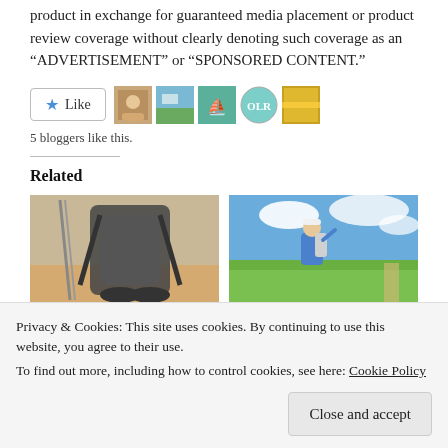product in exchange for guaranteed media placement or product review coverage without clearly denoting such coverage as an “ADVERTISEMENT” or “SPONSORED CONTENT.”
[Figure (other): Like button with star icon and 5 blogger avatar thumbnails]
5 bloggers like this.
Related
[Figure (photo): Two related article thumbnail photos side by side: left shows backpacking gear on wooden floor, right shows person with backpack in green field under blue sky]
In “Abisko to Nikkaluokta
Privacy & Cookies: This site uses cookies. By continuing to use this website, you agree to their use.
To find out more, including how to control cookies, see here: Cookie Policy
Close and accept